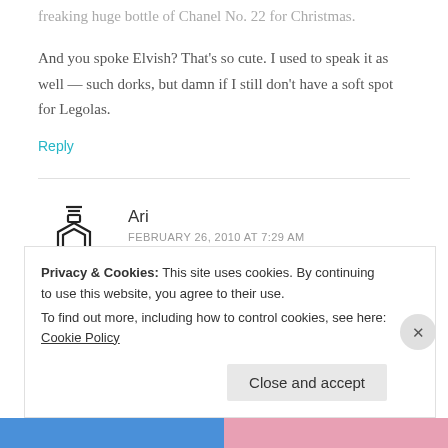freaking huge bottle of Chanel No. 22 for Christmas.
And you spoke Elvish? That's so cute. I used to speak it as well — such dorks, but damn if I still don't have a soft spot for Legolas.
Reply
[Figure (illustration): Perfume bottle icon — hexagonal bottle shape with lines at top representing stopper, drawn in outline style]
Ari
FEBRUARY 26, 2010 AT 7:29 AM
Privacy & Cookies: This site uses cookies. By continuing to use this website, you agree to their use. To find out more, including how to control cookies, see here: Cookie Policy
Close and accept